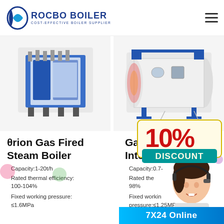[Figure (logo): Rocbo Boiler logo with crescent moon icon and text 'ROCBO BOILER - COST-EFFECTIVE BOILER SUPPLIER']
[Figure (photo): Blue and white industrial gas fired steam boiler unit (left product)]
[Figure (photo): White horizontal gas(oil) fired integrated boiler unit (right product)]
θrion Gas Fired Steam Boiler
Capacity:1-20t/h
Rated thermal efficiency: 100-104%
Fixed working pressure: ≤1.6MPa
Gas(oil Integrated
Capacity:0.7-
Rated thermal efficiency: 98%
Fixed working pressure:≤1.25MPa
[Figure (infographic): 10% DISCOUNT badge in red and teal colors]
[Figure (photo): Customer service agent woman with headset]
7X24 Online